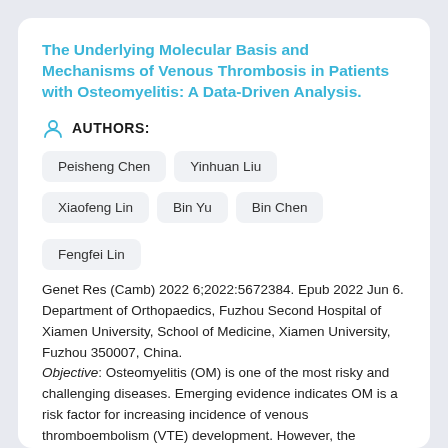The Underlying Molecular Basis and Mechanisms of Venous Thrombosis in Patients with Osteomyelitis: A Data-Driven Analysis.
AUTHORS:
Peisheng Chen
Yinhuan Liu
Xiaofeng Lin
Bin Yu
Bin Chen
Fengfei Lin
Genet Res (Camb) 2022 6;2022:5672384. Epub 2022 Jun 6.
Department of Orthopaedics, Fuzhou Second Hospital of Xiamen University, School of Medicine, Xiamen University, Fuzhou 350007, China.
Objective: Osteomyelitis (OM) is one of the most risky and challenging diseases. Emerging evidence indicates OM is a risk factor for increasing incidence of venous thromboembolism (VTE) development. However, the